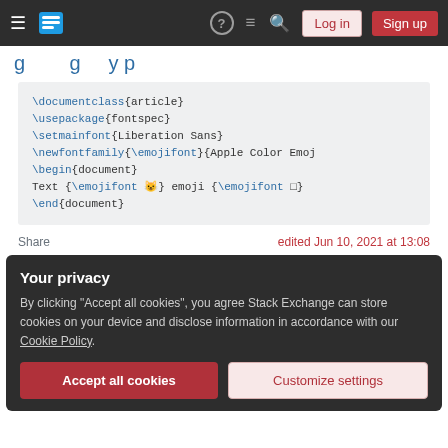Stack Exchange navigation bar with Log in and Sign up buttons
(partial heading, cut off)
\documentclass{article}
\usepackage{fontspec}
\setmainfont{Liberation Sans}
\newfontfamily{\emojifont}{Apple Color Emoji}
\begin{document}
Text {\emojifont 😺} emoji {\emojifont □}
\end{document}
Share		edited Jun 10, 2021 at 13:08
Your privacy
By clicking "Accept all cookies", you agree Stack Exchange can store cookies on your device and disclose information in accordance with our Cookie Policy.
[Accept all cookies] [Customize settings]